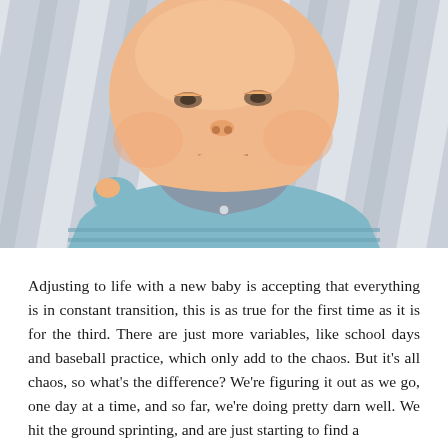[Figure (photo): Close-up photo of a newborn baby with chubby cheeks lying on a striped gray and white blanket, wearing a light blue and gray striped onesie. The baby has its eyes partially open and appears to be looking up at the camera.]
Adjusting to life with a new baby is accepting that everything is in constant transition, this is as true for the first time as it is for the third. There are just more variables, like school days and baseball practice, which only add to the chaos. But it's all chaos, so what's the difference? We're figuring it out as we go, one day at a time, and so far, we're doing pretty darn well. We hit the ground sprinting, and are just starting to find a